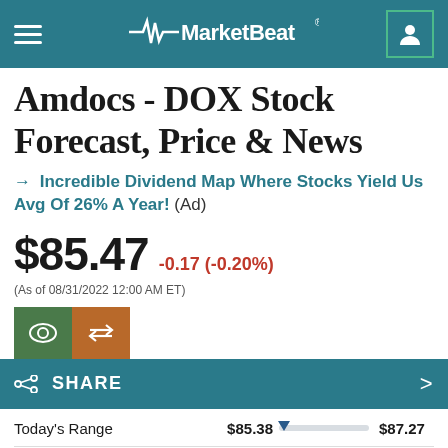MarketBeat
Amdocs - DOX Stock Forecast, Price & News
→ Incredible Dividend Map Where Stocks Yield Us Avg Of 26% A Year! (Ad)
$85.47 -0.17 (-0.20%) (As of 08/31/2022 12:00 AM ET)
| Range | Low | High |
| --- | --- | --- |
| Today's Range | $85.38 | $87.27 |
| 50-Day Range | $81.46 | $90.39 |
| 52-Week Range | $68.33 | $90.77 |